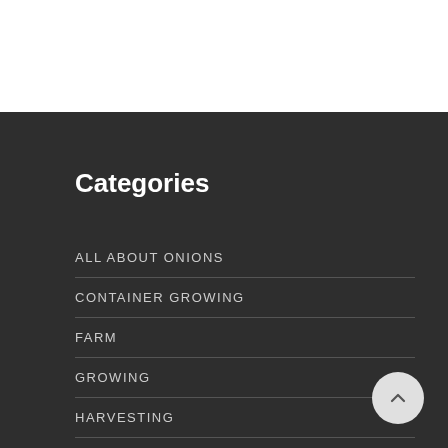Categories
ALL ABOUT ONIONS
CONTAINER GROWING
FARM
GROWING
HARVESTING